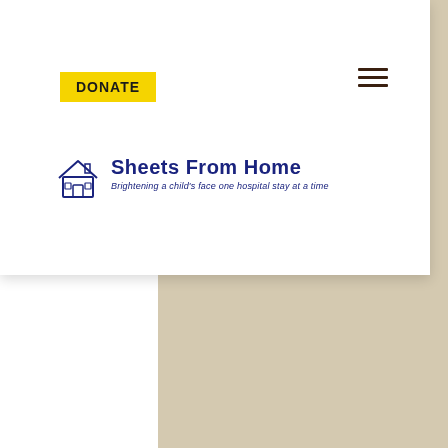[Figure (logo): Sheets From Home charity logo with house icon and tagline 'Brightening a child's face one hospital stay at a time']
DONATE
[Figure (other): Hamburger menu icon with three horizontal lines]